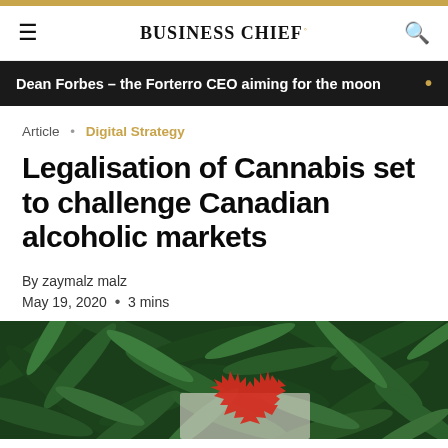BUSINESS CHIEF
Dean Forbes – the Forterro CEO aiming for the moon
Article • Digital Strategy
Legalisation of Cannabis set to challenge Canadian alcoholic markets
By zaymalz malz
May 19, 2020 • 3 mins
[Figure (photo): Cannabis leaves covering a Canadian maple leaf flag on a white wooden surface]